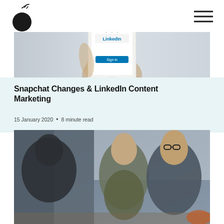[Figure (photo): Hand holding a smartphone showing the LinkedIn app login screen]
Snapchat Changes & LinkedIn Content Marketing
15 January 2020  •  8 minute read
[Figure (photo): Three people in a meeting or presentation setting; two men visible, one with glasses looking to the side]